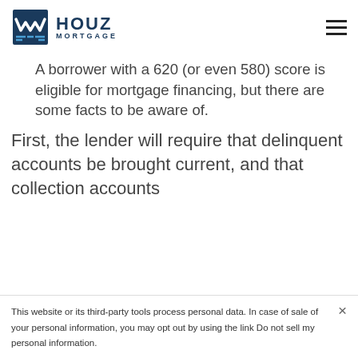HOUZ MORTGAGE
A borrower with a 620 (or even 580) score is eligible for mortgage financing, but there are some facts to be aware of.
First, the lender will require that delinquent accounts be brought current, and that collection accounts
This website or its third-party tools process personal data. In case of sale of your personal information, you may opt out by using the link Do not sell my personal information.